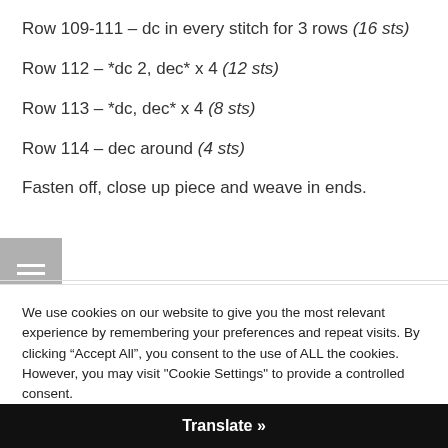Row 109-111 – dc in every stitch for 3 rows (16 sts)
Row 112 – *dc 2, dec* x 4 (12 sts)
Row 113 – *dc, dec* x 4 (8 sts)
Row 114 – dec around (4 sts)
Fasten off, close up piece and weave in ends.
We use cookies on our website to give you the most relevant experience by remembering your preferences and repeat visits. By clicking “Accept All”, you consent to the use of ALL the cookies. However, you may visit "Cookie Settings" to provide a controlled consent.
Cookie Settings | Accept All
Translate »